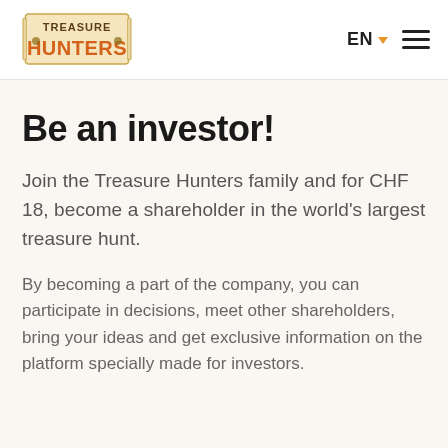[Figure (logo): Treasure Hunters logo with cartoon-style text on a scroll/banner, orange and brown colors]
Be an investor!
Join the Treasure Hunters family and for CHF 18, become a shareholder in the world's largest treasure hunt.
By becoming a part of the company, you can participate in decisions, meet other shareholders, bring your ideas and get exclusive information on the platform specially made for investors.